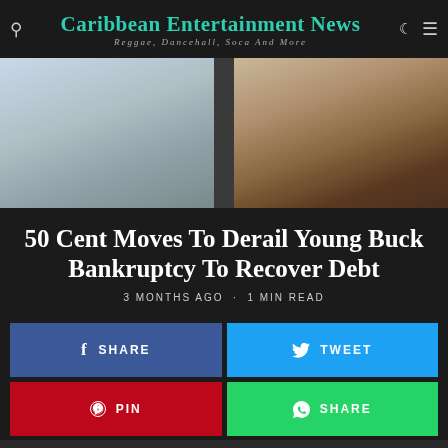Caribbean Entertainment News — Reggae, Dancehall, Soca And More
[Figure (photo): Two side-by-side photos: left shows a blurry outdoor scene, right shows a person holding a microphone wearing a gold chain and watch]
50 Cent Moves To Derail Young Buck Bankruptcy To Recover Debt
3 MONTHS AGO · 1 MIN READ
SHARE
TWEET
PIN
SHARE